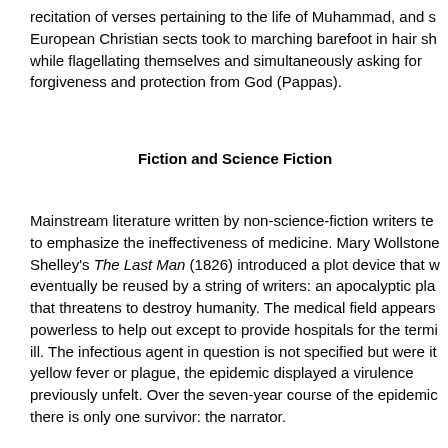recitation of verses pertaining to the life of Muhammad, and some European Christian sects took to marching barefoot in hair shirts while flagellating themselves and simultaneously asking for forgiveness and protection from God (Pappas).
Fiction and Science Fiction
Mainstream literature written by non-science-fiction writers tends to emphasize the ineffectiveness of medicine. Mary Wollstonecraft Shelley's The Last Man (1826) introduced a plot device that would eventually be reused by a string of writers: an apocalyptic plague that threatens to destroy humanity. The medical field appears powerless to help out except to provide hospitals for the terminally ill. The infectious agent in question is not specified but were it yellow fever or plague, the epidemic displayed a virulence previously unfelt. Over the seven-year course of the epidemic, there is only one survivor: the narrator.